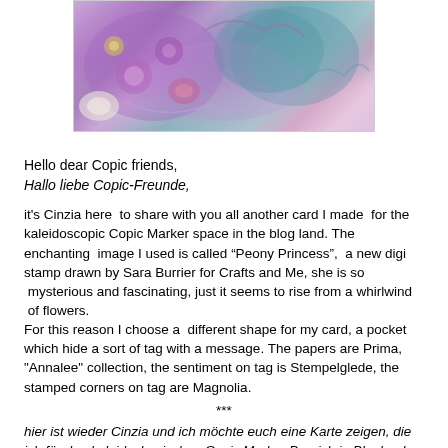[Figure (photo): Purple and teal floral illustration — Peony Princess digi stamp, showing a whirlwind of purple flowers and teal/green decorative bird or figure, colorful layered artwork]
Hello dear Copic friends,
Hallo liebe Copic-Freunde,
it's Cinzia here  to share with you all another card I made  for the kaleidoscopic Copic Marker space in the blog land. The enchanting  image I used is called “Peony Princess”,  a new digi stamp drawn by Sara Burrier for Crafts and Me, she is so  mysterious and fascinating, just it seems to rise from a whirlwind  of flowers.
For this reason I choose a  different shape for my card, a pocket which hide a sort of tag with a message. The papers are Prima, "Annalee" collection, the sentiment on tag is Stempelglede, the stamped corners on tag are Magnolia.
***
hier ist wieder Cinzia und ich möchte euch eine Karte zeigen, die ich für den kaleidoskopischen Copic Marker Bereich in Blogland gemacht habe.